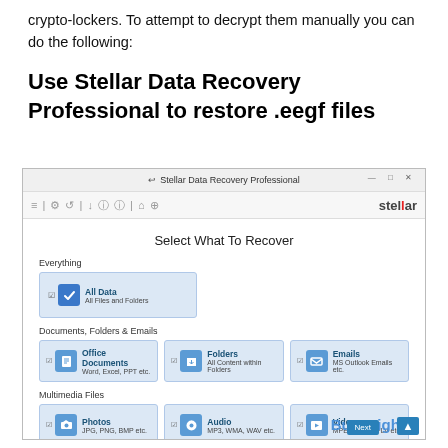crypto-lockers. To attempt to decrypt them manually you can do the following:
Use Stellar Data Recovery Professional to restore .eegf files
[Figure (screenshot): Screenshot of Stellar Data Recovery Professional application showing the 'Select What To Recover' screen with options for Everything (All Data), Documents Folders & Emails (Office Documents, Folders, Emails), and Multimedia Files (Photos, Audio, Videos). BugsFighter watermark visible at bottom.]